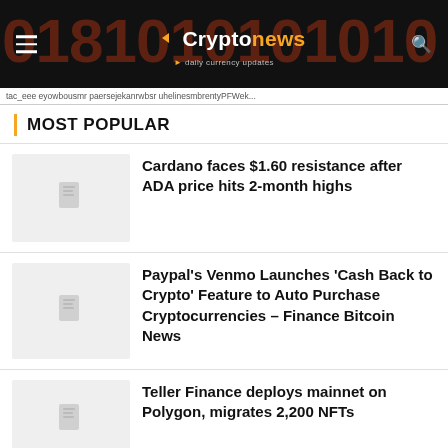Cryptonews – daily currency updates
tac_eee eyowbousmr paersejekan rwbsr uhelinesmbrentyPFWek...
MOST POPULAR
[Figure (photo): Thumbnail placeholder image for Cardano article]
Cardano faces $1.60 resistance after ADA price hits 2-month highs
[Figure (photo): Thumbnail placeholder image for Paypal Venmo article]
Paypal's Venmo Launches 'Cash Back to Crypto' Feature to Auto Purchase Cryptocurrencies – Finance Bitcoin News
[Figure (photo): Thumbnail placeholder image for Teller Finance article]
Teller Finance deploys mainnet on Polygon, migrates 2,200 NFTs